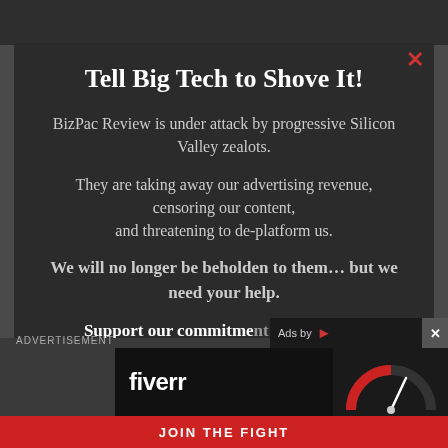Tell Big Tech to Shove It!
BizPac Review is under attack by progressive Silicon Valley zealots.
They are taking away our advertising revenue, censoring our content, and threatening to de-platform us.
We will no longer be beholden to them… but we need your help.
Support our commitment to delivering conservative n...
ADVERTISEMENT
[Figure (screenshot): Fiverr advertisement banner with logo and 'Start Now' green button, and a speedometer graphic on the right side. Ads by label visible. A red 'JOIN THE FIGHT' bar at the bottom.]